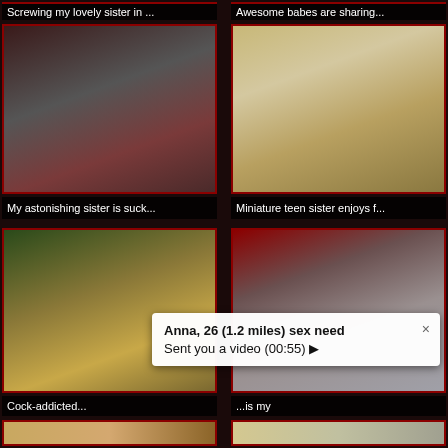Screwing my lovely sister in ...
Awesome babes are sharing...
[Figure (screenshot): Video thumbnail showing adult content - brunette woman]
[Figure (screenshot): Video thumbnail showing adult content - blonde woman]
My astonishing sister is suck...
Miniature teen sister enjoys f...
[Figure (screenshot): Video thumbnail showing adult content - woman on floor]
[Figure (screenshot): Video thumbnail showing adult content - bathroom scene]
Cock-addicted...
...is my
Anna, 26 (1.2 miles) sex need
Sent you a video (00:55) ▶
[Figure (screenshot): Partial video thumbnail bottom left]
[Figure (screenshot): Partial video thumbnail bottom right]